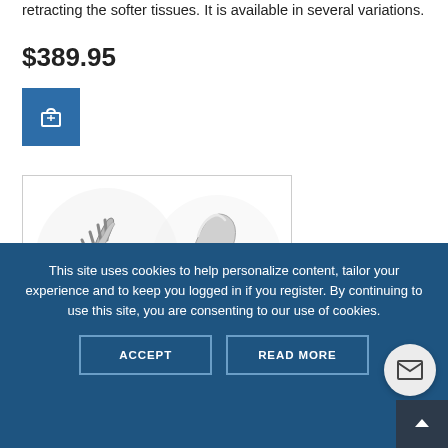retracting the softer tissues. It is available in several variations.
$389.95
[Figure (illustration): Shopping cart icon button in blue square]
[Figure (photo): Two surgical retractors shown as stainless steel instruments - one with prongs/teeth (rake style) and one smooth curved blade]
This site uses cookies to help personalize content, tailor your experience and to keep you logged in if you register. By continuing to use this site, you are consenting to our use of cookies.